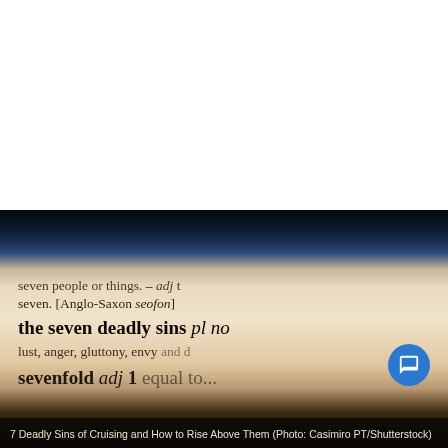[Figure (photo): Close-up photograph of a dictionary page illuminated with blue and warm light, showing the entry 'the seven deadly sins' in bold, surrounded by text including 'seven people or things', 'seven. [Anglo-Saxon seofon]', 'lust, anger, gluttony, envy and d...', and 'sevenfold add 1 equal to...'. A blue circular chat icon is visible in the bottom right corner.]
7 Deadly Sins of Cruising and How to Rise Above Them (Photo: Casimiro PT/Shutterstock)